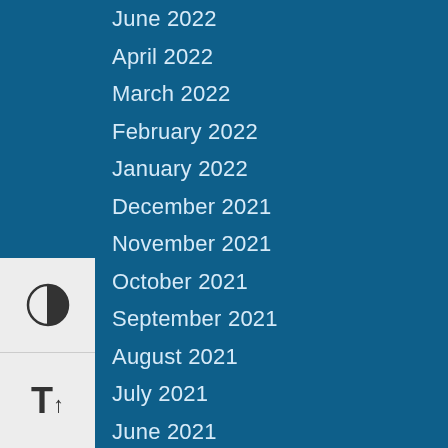June 2022
April 2022
March 2022
February 2022
January 2022
December 2021
November 2021
October 2021
September 2021
August 2021
July 2021
June 2021
May 2021
April 2021
March 2021
February 2021
December 2020
November 2020